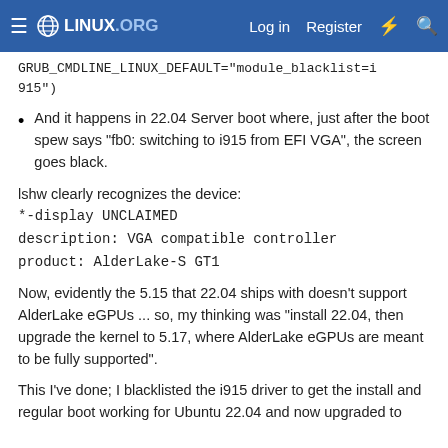LINUX.ORG | Log in | Register
GRUB_CMDLINE_LINUX_DEFAULT="module_blacklist=i915")
And it happens in 22.04 Server boot where, just after the boot spew says "fb0: switching to i915 from EFI VGA", the screen goes black.
lshw clearly recognizes the device:
*-display UNCLAIMED
description: VGA compatible controller
product: AlderLake-S GT1
Now, evidently the 5.15 that 22.04 ships with doesn't support AlderLake eGPUs ... so, my thinking was "install 22.04, then upgrade the kernel to 5.17, where AlderLake eGPUs are meant to be fully supported".
This I've done; I blacklisted the i915 driver to get the install and regular boot working for Ubuntu 22.04 and now upgraded to